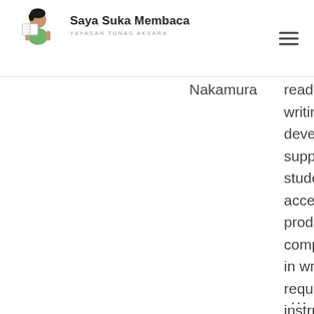Saya Suka Membaca — YAYASAN TUNAS AKSARA
Nakamura
reading writing developing supporting students accessing producing comprehending in writing requiring instructing across years, single...